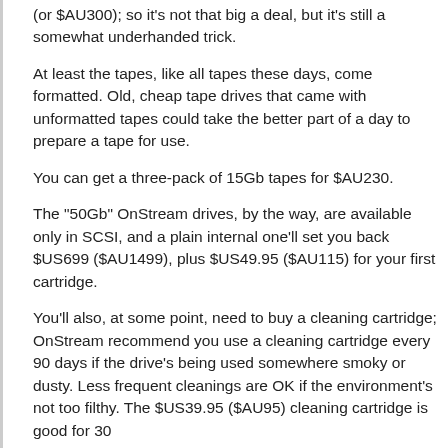(or $AU300); so it's not that big a deal, but it's still a somewhat underhanded trick.
At least the tapes, like all tapes these days, come formatted. Old, cheap tape drives that came with unformatted tapes could take the better part of a day to prepare a tape for use.
You can get a three-pack of 15Gb tapes for $AU230.
The "50Gb" OnStream drives, by the way, are available only in SCSI, and a plain internal one'll set you back $US699 ($AU1499), plus $US49.95 ($AU115) for your first cartridge.
You'll also, at some point, need to buy a cleaning cartridge; OnStream recommend you use a cleaning cartridge every 90 days if the drive's being used somewhere smoky or dusty. Less frequent cleanings are OK if the environment's not too filthy. The $US39.95 ($AU95) cleaning cartridge is good for 30